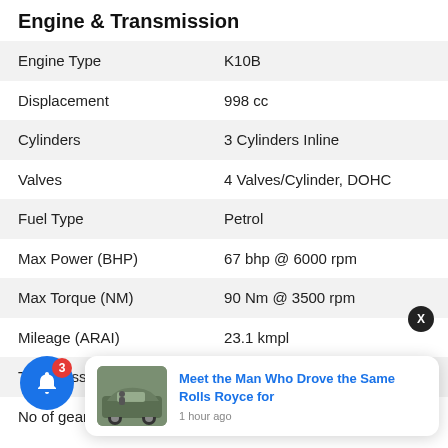Engine & Transmission
|  |  |
| --- | --- |
| Engine Type | K10B |
| Displacement | 998 cc |
| Cylinders | 3 Cylinders Inline |
| Valves | 4 Valves/Cylinder, DOHC |
| Fuel Type | Petrol |
| Max Power (BHP) | 67 bhp @ 6000 rpm |
| Max Torque (NM) | 90 Nm @ 3500 rpm |
| Mileage (ARAI) | 23.1 kmpl |
| Transmission Type | Manual |
| No of gears | 5 Gears |
[Figure (other): Notification popup showing a news card: 'Meet the Man Who Drove the Same Rolls Royce for' posted 1 hour ago, with an image of a vintage car. A blue bell icon with red badge showing 3 notifications, and an X close button.]